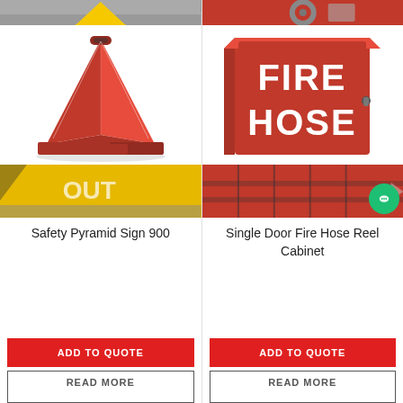[Figure (photo): Yellow safety cone top strip (cropped top of page, left column)]
[Figure (photo): Red fire hose reel top strip (cropped top of page, right column)]
[Figure (photo): Red Safety Pyramid Sign 900 product image]
[Figure (photo): Red Single Door Fire Hose Reel Cabinet product image]
[Figure (photo): Yellow safety cone close-up bottom strip (left column)]
[Figure (photo): Red fire hose cabinet interior close-up bottom strip (right column)]
Safety Pyramid Sign 900
Single Door Fire Hose Reel Cabinet
ADD TO QUOTE
ADD TO QUOTE
READ MORE
READ MORE